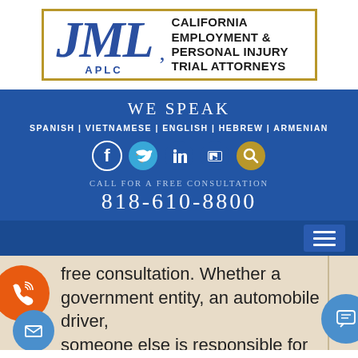[Figure (logo): JML APLC California Employment & Personal Injury Trial Attorneys logo with gold border and blue stylized letters]
WE SPEAK
SPANISH | VIETNAMESE | ENGLISH | HEBREW | ARMENIAN
[Figure (infographic): Social media icons: Facebook, Twitter, LinkedIn, YouTube, Search (magnifying glass)]
CALL FOR A FREE CONSULTATION
818-610-8800
free consultation. Whether a government entity, an automobile driver, someone else is responsible for your